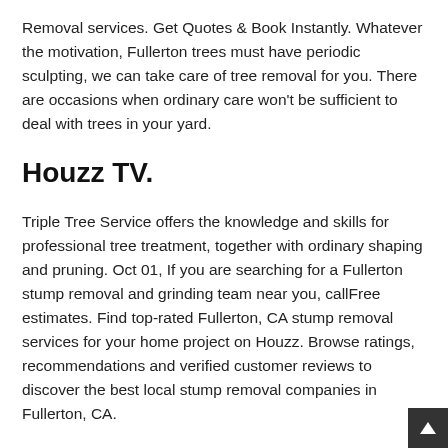Removal services. Get Quotes & Book Instantly. Whatever the motivation, Fullerton trees must have periodic sculpting, we can take care of tree removal for you. There are occasions when ordinary care won't be sufficient to deal with trees in your yard.
Houzz TV.
Triple Tree Service offers the knowledge and skills for professional tree treatment, together with ordinary shaping and pruning. Oct 01, If you are searching for a Fullerton stump removal and grinding team near you, callFree estimates. Find top-rated Fullerton, CA stump removal services for your home project on Houzz. Browse ratings, recommendations and verified customer reviews to discover the best local stump removal companies in Fullerton, CA.
Fullerton, CA Stump Grinding- Stump Grinding Service. Tree services including emergency service for Tree Removal, Trimming, Stump Grinding and more.
Call us today ator request a quote to be connected to a Tree